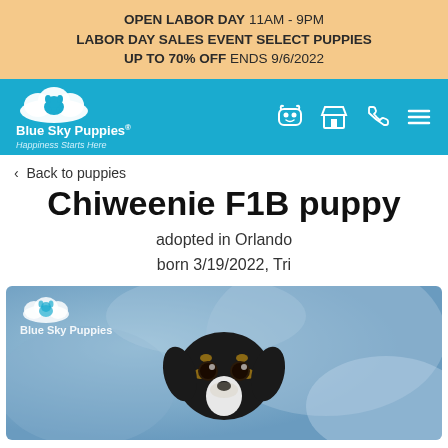OPEN LABOR DAY 11AM - 9PM LABOR DAY SALES EVENT SELECT PUPPIES UP TO 70% OFF ENDS 9/6/2022
[Figure (logo): Blue Sky Puppies logo with cloud and dog icon, white on teal/cyan background, with navigation icons]
< Back to puppies
Chiweenie F1B puppy
adopted in Orlando
born 3/19/2022, Tri
[Figure (photo): Photo of a small Chiweenie puppy (black, tan and white tricolor) against a mottled blue background, with Blue Sky Puppies watermark logo in top left corner]